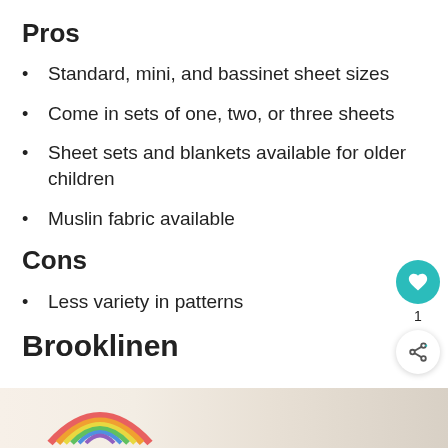Pros
Standard, mini, and bassinet sheet sizes
Come in sets of one, two, or three sheets
Sheet sets and blankets available for older children
Muslin fabric available
Cons
Less variety in patterns
Brooklinen
[Figure (photo): Bottom strip image showing a rainbow and baby/children themed items]